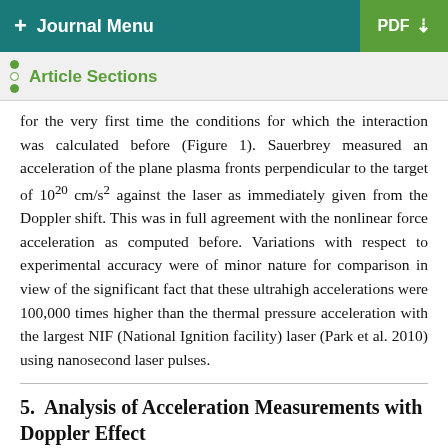+ Journal Menu | PDF ↓
Article Sections
for the very first time the conditions for which the interaction was calculated before (Figure 1). Sauerbrey measured an acceleration of the plane plasma fronts perpendicular to the target of 10^20 cm/s^2 against the laser as immediately given from the Doppler shift. This was in full agreement with the nonlinear force acceleration as computed before. Variations with respect to experimental accuracy were of minor nature for comparison in view of the significant fact that these ultrahigh accelerations were 100,000 times higher than the thermal pressure acceleration with the largest NIF (National Ignition facility) laser (Park et al. 2010) using nanosecond laser pulses.
5. Analysis of Acceleration Measurements with Doppler Effect
Compared with the Doppler experiments with KrF lasers, the continuation with solid state lasers indicated a number of